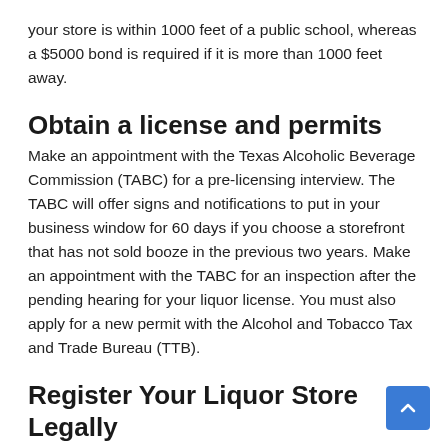your store is within 1000 feet of a public school, whereas a $5000 bond is required if it is more than 1000 feet away.
Obtain a license and permits
Make an appointment with the Texas Alcoholic Beverage Commission (TABC) for a pre-licensing interview. The TABC will offer signs and notifications to put in your business window for 60 days if you choose a storefront that has not sold booze in the previous two years. Make an appointment with the TABC for an inspection after the pending hearing for your liquor license. You must also apply for a new permit with the Alcohol and Tobacco Tax and Trade Bureau (TTB).
Register Your Liquor Store Legally
You must create a legal company for your store to act as a real business. A single proprietorship, general partnership, limited liability company, or corporation can be formed. If you are unsure about the legal structure to use, you may seek advice from specialists such as